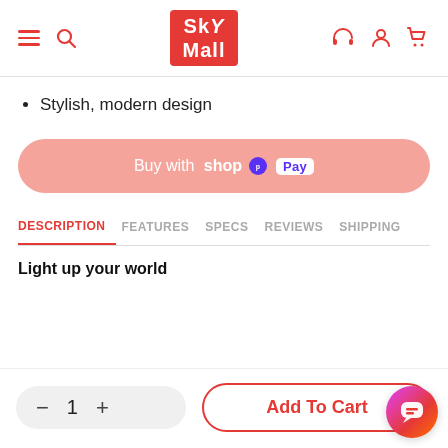SkyMall
Stylish, modern design
[Figure (other): Buy with Shop Pay button — rounded pink/salmon pill-shaped button with white text]
DESCRIPTION   FEATURES   SPECS   REVIEWS   SHIPPING
Light up your world
[Figure (other): Bottom bar with quantity selector (minus, 1, plus) and Add To Cart button with chat bubble icon]